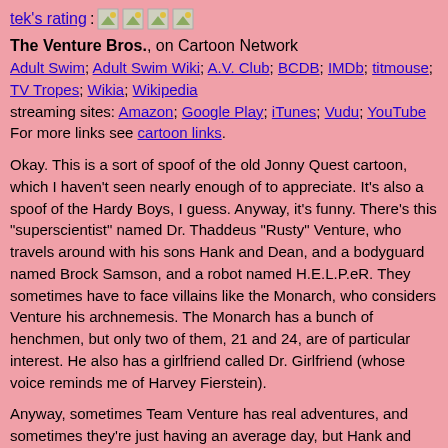tek's rating: [star icons]
The Venture Bros., on Cartoon Network
Adult Swim; Adult Swim Wiki; A.V. Club; BCDB; IMDb; titmouse; TV Tropes; Wikia; Wikipedia
streaming sites: Amazon; Google Play; iTunes; Vudu; YouTube
For more links see cartoon links.
Okay. This is a sort of spoof of the old Jonny Quest cartoon, which I haven't seen nearly enough of to appreciate. It's also a spoof of the Hardy Boys, I guess. Anyway, it's funny. There's this "superscientist" named Dr. Thaddeus "Rusty" Venture, who travels around with his sons Hank and Dean, and a bodyguard named Brock Samson, and a robot named H.E.L.P.eR. They sometimes have to face villains like the Monarch, who considers Venture his archnemesis. The Monarch has a bunch of henchmen, but only two of them, 21 and 24, are of particular interest. He also has a girlfriend called Dr. Girlfriend (whose voice reminds me of Harvey Fierstein).
Anyway, sometimes Team Venture has real adventures, and sometimes they're just having an average day, but Hank and Dean turn it into an adventure in their own minds, cuz they always think there's some enemy to face. They're pretty stupid, and annoying. And Dr. Venture doesn't like them or much of anything about his